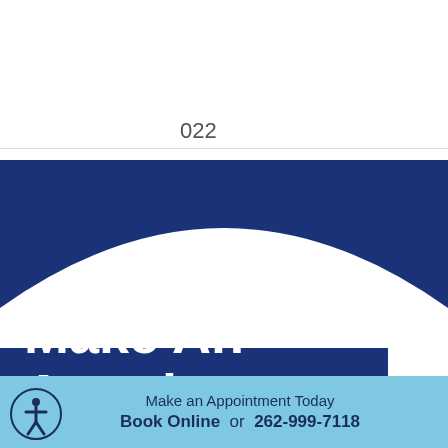[Figure (logo): Advantage Chiropractic logo with circular emblem containing chevron/mountain symbol and text ADVANTAGE CHIROPRACTIC]
022
[Figure (illustration): Dark navy blue background with hamburger menu icon (three white horizontal lines) in the top right corner]
[Figure (illustration): Large dark blue curved wave section forming the background of the lower portion of the page]
Make An Appointment
Make an Appointment Today
Book Online or 262-999-7118